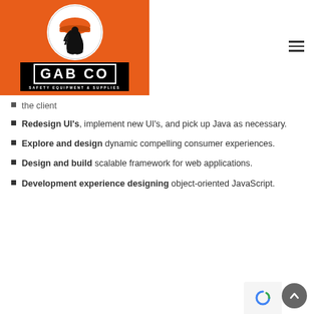[Figure (logo): GAB CO Safety Equipment & Supplies logo on orange background with construction worker silhouette in a circle]
the client
Redesign UI's, implement new UI's, and pick up Java as necessary.
Explore and design dynamic compelling consumer experiences.
Design and build scalable framework for web applications.
Development experience designing object-oriented JavaScript.